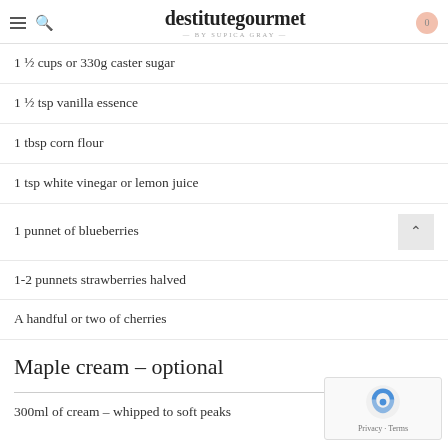destitutegourmet — BY SUPICA GRAY —
1 ½ cups or 330g caster sugar
1 ½ tsp vanilla essence
1 tbsp corn flour
1 tsp white vinegar or lemon juice
1 punnet of blueberries
1-2 punnets strawberries halved
A handful or two of cherries
Maple cream – optional
300ml of cream – whipped to soft peaks